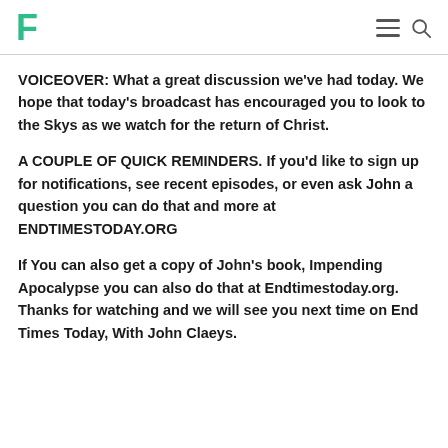F
VOICEOVER: What a great discussion we've had today. We hope that today's broadcast has encouraged you to look to the Skys as we watch for the return of Christ.
A COUPLE OF QUICK REMINDERS. If you'd like to sign up for notifications, see recent episodes, or even ask John a question you can do that and more at ENDTIMESTODAY.ORG
If You can also get a copy of John's book, Impending Apocalypse you can also do that at Endtimestoday.org. Thanks for watching and we will see you next time on End Times Today, With John Claeys.